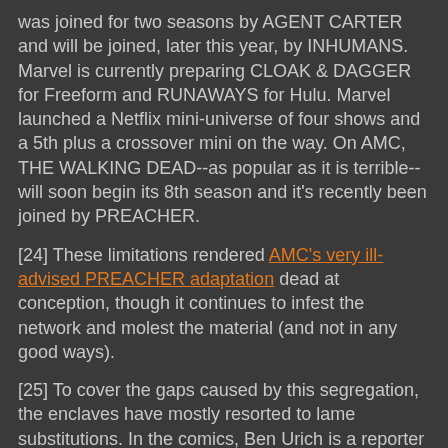was joined for two seasons by AGENT CARTER and will be joined, later this year, by INHUMANS. Marvel is currently preparing CLOAK & DAGGER for Freeform and RUNAWAYS for Hulu. Marvel launched a Netflix mini-universe of four shows and a 5th plus a crossover mini on the way. On AMC, THE WALKING DEAD--as popular as it is terrible--will soon begin its 8th season and it's recently been joined by PREACHER.
[24] These limitations rendered AMC's very ill-advised PREACHER adaptation dead at conception, though it continues to infest the network and molest the material (and not in any good ways).
[25] To cover the gaps caused by this segregation, the enclaves have mostly resorted to lame substitutions. In the comics, Ben Urich is a reporter for the Daily Bugle, Peter "Spider-Man" Parker's newspaper; Netflix DAREDEVIL combined Urich and Joe Robertson, another Spider-Man character, into a new Urich and had him working at some other paper (presumably locking both Urich and Robertson out of the movie enclave where roams Spider-Man). In the